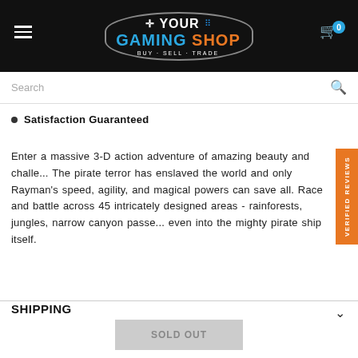[Figure (logo): Your Gaming Shop logo — white and colored text on black background, buy sell trade tagline, game controller icons]
Search
Satisfaction Guaranteed
Enter a massive 3-D action adventure of amazing beauty and challe... The pirate terror has enslaved the world and only Rayman's speed, agility, and magical powers can save all. Race and battle across 45 intricately designed areas - rainforests, jungles, narrow canyon passe... even into the mighty pirate ship itself.
SHIPPING
SOLD OUT